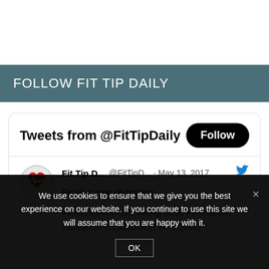FOLLOW FIT TIP DAILY
[Figure (screenshot): Twitter/X widget showing tweets from @FitTipDaily with a Follow button, avatar, tweet by Fit Tip D... @FitTipD... · May 13, 2017: 'Be your own champion...' with hashtags #fitness #exercise #weightloss #fitnesstips and link instagram.com/p/BUCjTWhBQnW/]
We use cookies to ensure that we give you the best experience on our website. If you continue to use this site we will assume that you are happy with it.
OK